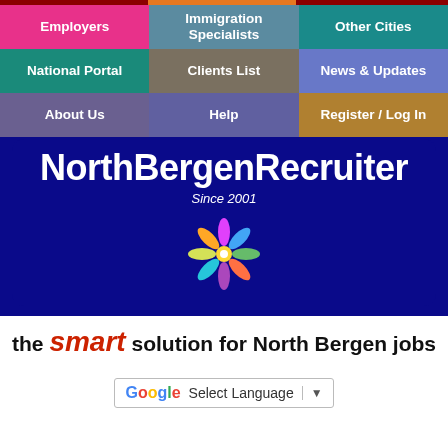[Figure (screenshot): Navigation grid with 9 colored cells: Employers (pink), Immigration Specialists (steel blue), Other Cities (teal-blue), National Portal (teal), Clients List (taupe), News & Updates (medium blue), About Us (dark mauve), Help (indigo), Register / Log In (gold)]
NorthBergenRecruiter
Since 2001
[Figure (logo): Colorful pinwheel/flower logo with people figures in multiple colors radiating from center]
the smart solution for North Bergen jobs
[Figure (screenshot): Google Translate Select Language dropdown widget]